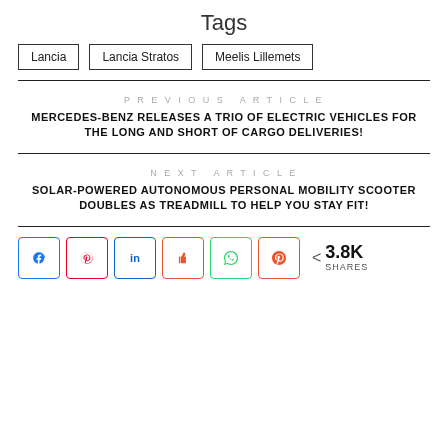Tags
Lancia
Lancia Stratos
Meelis Lillemets
PREVIOUS ARTICLE
MERCEDES-BENZ RELEASES A TRIO OF ELECTRIC VEHICLES FOR THE LONG AND SHORT OF CARGO DELIVERIES!
NEXT ARTICLE
SOLAR-POWERED AUTONOMOUS PERSONAL MOBILITY SCOOTER DOUBLES AS TREADMILL TO HELP YOU STAY FIT!
< 3.8K SHARES